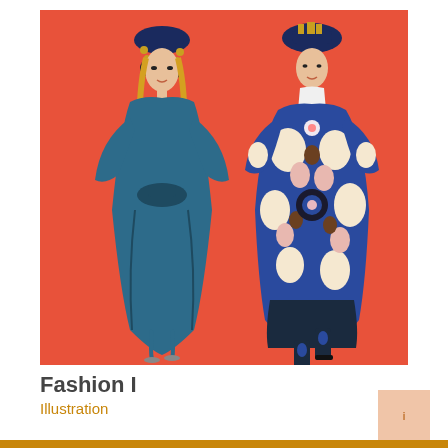[Figure (illustration): Two fashion illustration figures on a coral/red-orange background. Left figure: woman in a flowing dark teal/blue draped dress with decorative black headdress and long blonde hair. Right figure: woman in an ornate blue and white patterned coat with floral embellishments and a decorated headdress, styled in an Asian-inspired fashion.]
Fashion I
Illustration